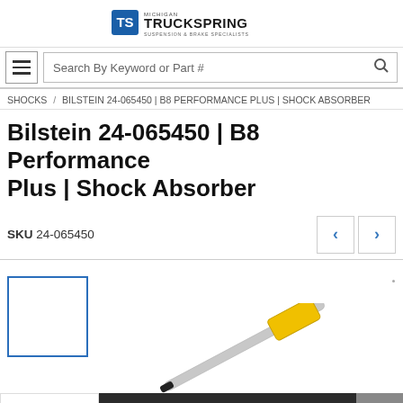[Figure (logo): Michigan TruckSpring logo — TS icon with text 'MICHIGAN TRUCKSPRING SUSPENSION & BRAKE SPECIALISTS']
Search By Keyword or Part #
SHOCKS / BILSTEIN 24-065450 | B8 PERFORMANCE PLUS | SHOCK ABSORBER
Bilstein 24-065450 | B8 Performance Plus | Shock Absorber
SKU 24-065450
[Figure (photo): Product photo of a Bilstein shock absorber (yellow and silver) shown diagonally, with a small thumbnail box outline on the left]
Contact Us
TrustedSite CERTIFIED SECU